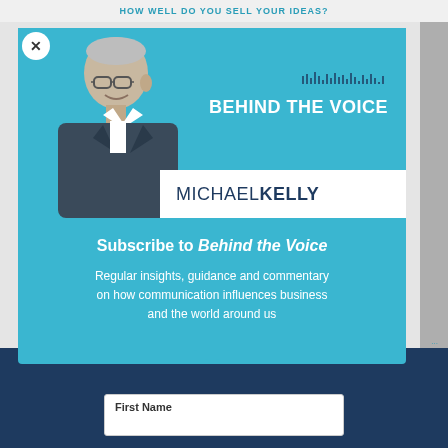HOW WELL DO YOU SELL YOUR IDEAS?
[Figure (screenshot): Popup modal for 'Behind the Voice' podcast by Michael Kelly with subscribe prompt, shown over a webpage background. Contains a photo of an older man in a suit, 'BEHIND THE VOICE' text with soundwave icon, 'MICHAEL KELLY' name banner, subscription text, and a First Name input field.]
Subscribe to Behind the Voice
Regular insights, guidance and commentary on how communication influences business and the world around us
First Name